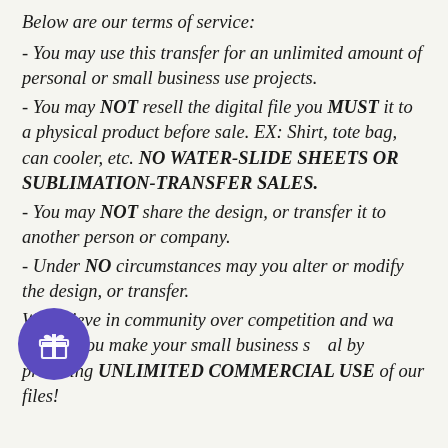Below are our terms of service:
- You may use this transfer for an unlimited amount of personal or small business use projects.
- You may NOT resell the digital file you MUST it to a physical product before sale. EX: Shirt, tote bag, can cooler, etc. NO WATER-SLIDE SHEETS OR SUBLIMATION-TRANSFER SALES.
- You may NOT share the design, or transfer it to another person or company.
- Under NO circumstances may you alter or modify the design, or transfer.
We believe in community over competition and want to help you make your small business successful by providing UNLIMITED COMMERCIAL USE of our files!